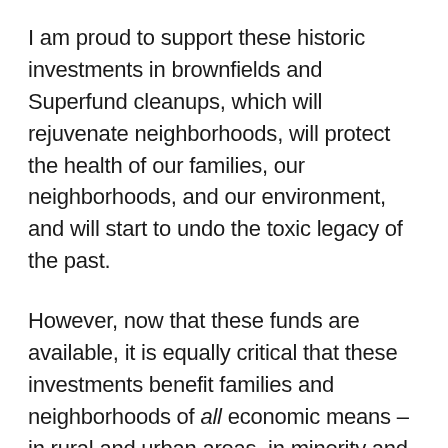I am proud to support these historic investments in brownfields and Superfund cleanups, which will rejuvenate neighborhoods, will protect the health of our families, our neighborhoods, and our environment, and will start to undo the toxic legacy of the past.
However, now that these funds are available, it is equally critical that these investments benefit families and neighborhoods of all economic means – in rural and urban areas, in minority and tribal communities, and in every geographic area of the country.
That is the focus of today's hearing—listening to